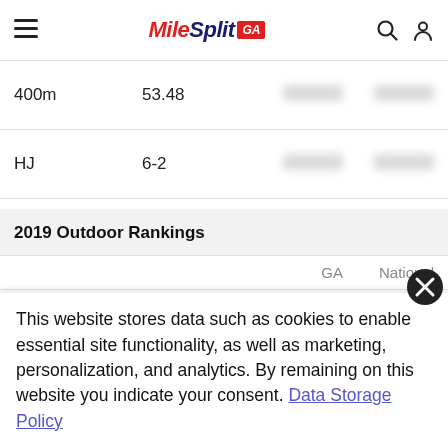MileSplit GA
|  |  | GA | National |
| --- | --- | --- | --- |
| 400m | 53.48 | [blurred] | [blurred] |
| HJ | 6-2 | [blurred] | [blurred] |
2019 Outdoor Rankings
|  |  | GA | National |
| --- | --- | --- | --- |
| 100m | 11.25 | [blurred] | [blurred] |
This website stores data such as cookies to enable essential site functionality, as well as marketing, personalization, and analytics. By remaining on this website you indicate your consent. Data Storage Policy